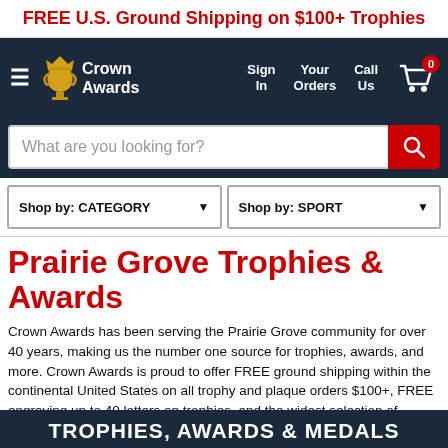FREE U.S. Ground Shipping on $100+ Trophies
[Figure (screenshot): Crown Awards navigation bar with logo, Sign In, Your Orders, Call Us, and cart icon with badge showing 0]
What are you looking for?
Shop by: CATEGORY    Shop by: SPORT
Prairie Grove Trophies & Awards
Crown Awards has been serving the Prairie Grove community for over 40 years, making us the number one source for trophies, awards, and more. Crown Awards is proud to offer FREE ground shipping within the continental United States on all trophy and plaque orders $100+, FREE engraving up to 40 letters on trophies, and the widest selection of awards across the country.
TROPHIES, AWARDS & MEDALS